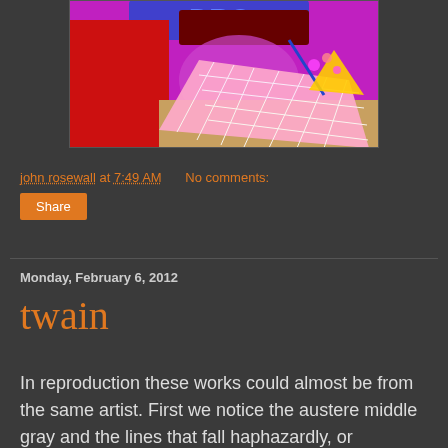[Figure (illustration): Colorful digital artwork with magenta/purple background, red shapes on left, and a grid-patterned white/pink surface with colorful objects on top, including what appears to be scattered items and a cone-like shape]
john rosewall at 7:49 AM   No comments:
Share
Monday, February 6, 2012
twain
In reproduction these works could almost be from the same artist. First we notice the austere middle gray and the lines that fall haphazardly, or meander desultorily, across the